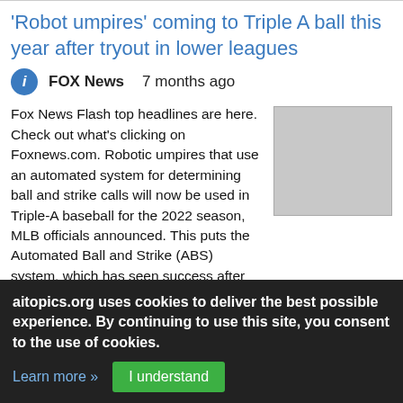'Robot umpires' coming to Triple A ball this year after tryout in lower leagues
FOX News   7 months ago
Fox News Flash top headlines are here. Check out what's clicking on Foxnews.com. Robotic umpires that use an automated system for determining ball and strike calls will now be used in Triple-A baseball for the 2022 season, MLB officials announced. This puts the Automated Ball and Strike (ABS) system, which has seen success after experimental adoption by some ballparks in the minor leagues, just one level below the major leagues. MLB'S SNAIL-PACED LOCKOUT TALKS TO RESUME WITH UNION OFFER MLB is
[Figure (photo): Thumbnail image placeholder (gray rectangle)]
aitopics.org uses cookies to deliver the best possible experience. By continuing to use this site, you consent to the use of cookies.
Learn more »   I understand